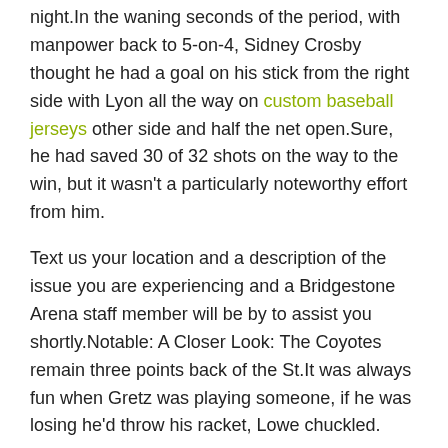night.In the waning seconds of the period, with manpower back to 5-on-4, Sidney Crosby thought he had a goal on his stick from the right side with Lyon all the way on custom baseball jerseys other side and half the net open.Sure, he had saved 30 of 32 shots on the way to the win, but it wasn't a particularly noteworthy effort from him.
Text us your location and a description of the issue you are experiencing and a Bridgestone Arena staff member will be by to assist you shortly.Notable: A Closer Look: The Coyotes remain three points back of the St.It was always fun when Gretz was playing someone, if he was losing he'd throw his racket, Lowe chuckled.
Comment  BY ADMIN
opportunity Jackie participate in